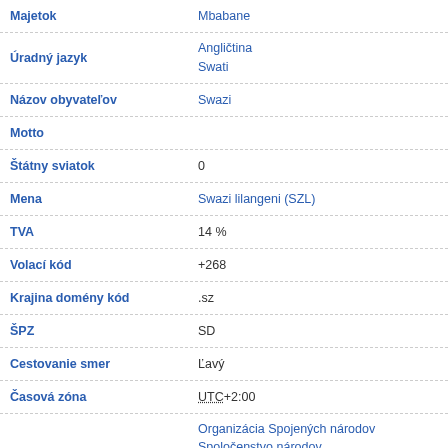| Atribút | Hodnota |
| --- | --- |
| Majetok | Mbabane |
| Úradný jazyk | Angličtina
Swati |
| Názov obyvateľov | Swazi |
| Motto |  |
| Štátny sviatok | 0 |
| Mena | Swazi lilangeni (SZL) |
| TVA | 14 % |
| Volací kód | +268 |
| Krajina domény kód | .sz |
| ŠPZ | SD |
| Cestovanie smer | Ľavý |
| Časová zóna | UTC +2:00 |
| Medzinárodná organizácia | Organizácia Spojených národov
Spoločenstvo národov
Africká únia
Hospodárska komisia pre Afriku
Skupina 77 |
| Štátna hymna | Nkulunkulu Mnikati wetibusiso temaSwati
[audio player 0:00 / 1:07] |